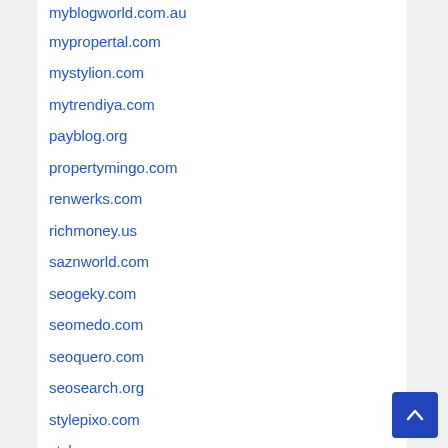myblogworld.com.au
mypropertal.com
mystylion.com
mytrendiya.com
payblog.org
propertymingo.com
renwerks.com
richmoney.us
saznworld.com
seogeky.com
seomedo.com
seoquero.com
seosearch.org
stylepixo.com
stylesaag.com